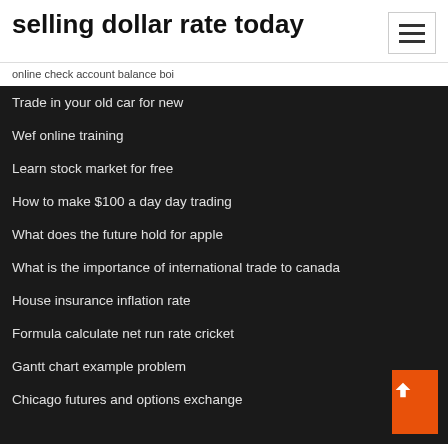selling dollar rate today
online check account balance boi
Trade in your old car for new
Wef online training
Learn stock market for free
How to make $100 a day day trading
What does the future hold for apple
What is the importance of international trade to canada
House insurance inflation rate
Formula calculate net run rate cricket
Gantt chart example problem
Chicago futures and options exchange